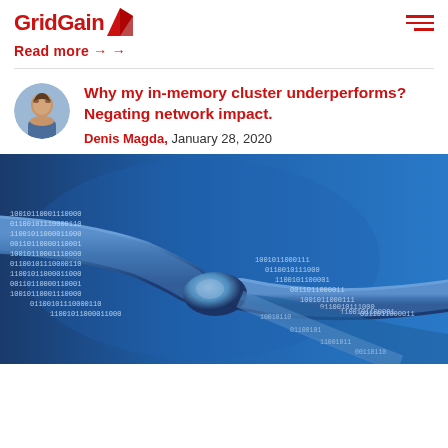GridGain
Read more →
Why my in-memory cluster underperforms? Negating network impact.
Denis Magda,  January 28, 2020
[Figure (photo): Abstract illustration of binary data streams (0s and 1s) flowing through a network tube/pipe connector on a blue background, representing network data transfer.]